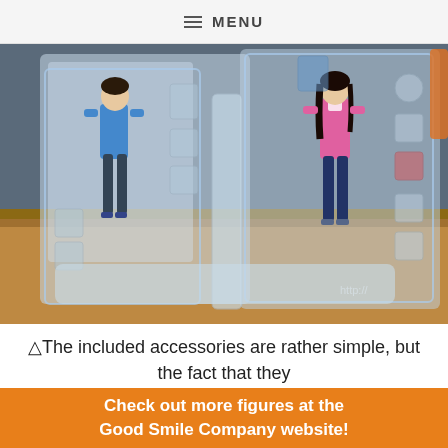≡ MENU
[Figure (photo): Two anime figma action figures in clear plastic packaging standing on a wooden table. Left figure wears a blue tracksuit top with dark capri pants. Right figure wears a pink jacket with dark blue pants and has long dark hair. Packaging includes various accessories in molded clear plastic trays.]
△The included accessories are rather simple, but the fact that they are wearing tracksuit pants allows for all sorts of easy
Check out more figures at the Good Smile Company website!